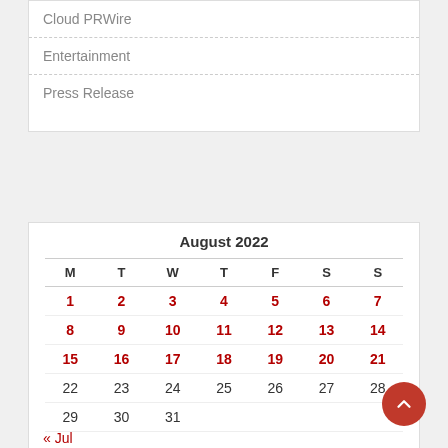Cloud PRWire
Entertainment
Press Release
August 2022
| M | T | W | T | F | S | S |
| --- | --- | --- | --- | --- | --- | --- |
| 1 | 2 | 3 | 4 | 5 | 6 | 7 |
| 8 | 9 | 10 | 11 | 12 | 13 | 14 |
| 15 | 16 | 17 | 18 | 19 | 20 | 21 |
| 22 | 23 | 24 | 25 | 26 | 27 | 28 |
| 29 | 30 | 31 |  |  |  |  |
« Jul